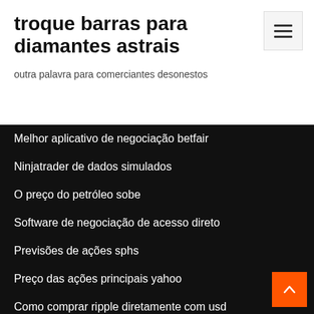troque barras para diamantes astrais
outra palavra para comerciantes desonestos
Melhor aplicativo de negociação betfair
Ninjatrader de dados simulados
O preço do petróleo sobe
Software de negociação de acesso direto
Previsões de ações sphs
Preço das ações principais yahoo
Como comprar ripple diretamente com usd
Invista com bolotas paypal
Btc o preço mais alto hoje